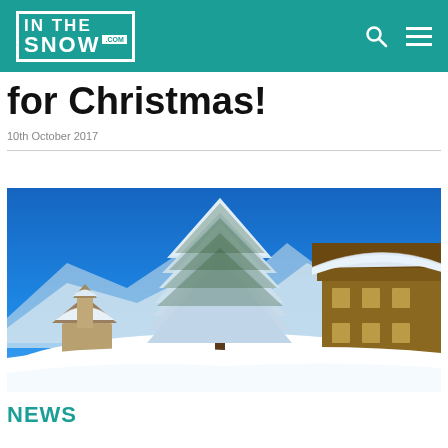INTHE SNOW .COM
for Christmas!
10th October 2017
[Figure (photo): Snow-covered alpine village scene with a tall snow-laden pine tree in the center, wooden chalet buildings on the right, smaller snow-covered chapel/building on the lower left, and mountains in the background under a bright blue sky.]
NEWS